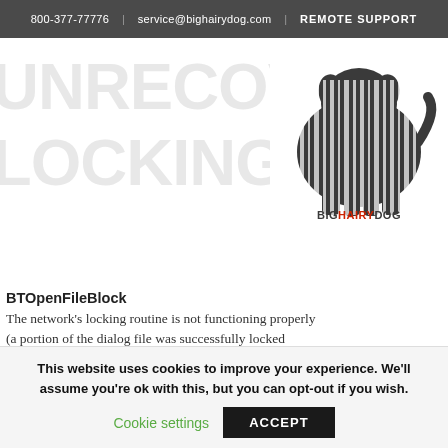800-377-77776 | service@bighairydog.com | REMOTE SUPPORT
[Figure (logo): Big Hairy Dog logo with barcode-style dog silhouette and text BIGHAIRYDOG RETAIL RELATIONSHIP]
UNRECOVERABLE LOCKING ERROR
BTOpenFileBlock
The network's locking routine is not functioning properly (a portion of the dialog file was successfully locked twice. Either no network is present, or the wrong one was specified by BTInitIsam.
a) Change Network Type = MsNet
b) Delete *.DIA (Dialog Files)
This website uses cookies to improve your experience. We'll assume you're ok with this, but you can opt-out if you wish.
Cookie settings   ACCEPT